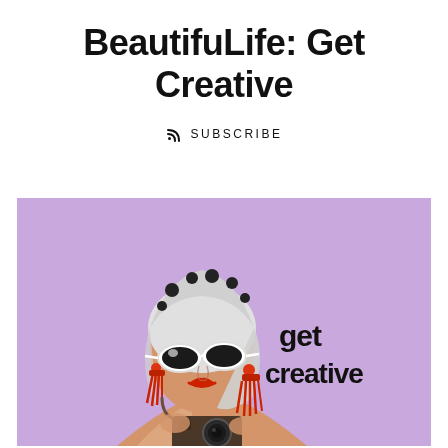BeautifuLife: Get Creative
SUBSCRIBE
[Figure (illustration): Fashion photo of a stylish woman with white round sunglasses, red lips, red tassel earrings, a black and white headscarf, holding a vintage camera, against a lavender/purple background. Text overlay reads 'get creative' in bold black letters.]